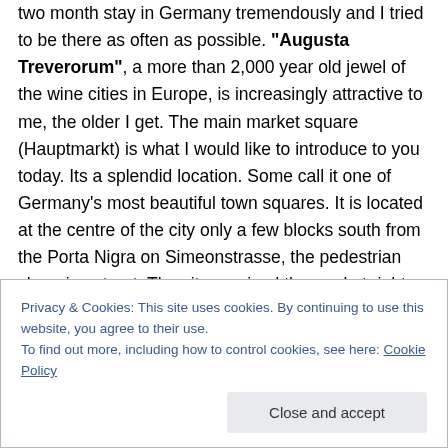two month stay in Germany tremendously and I tried to be there as often as possible. "Augusta Treverorum", a more than 2,000 year old jewel of the wine cities in Europe, is increasingly attractive to me, the older I get. The main market square (Hauptmarkt) is what I would like to introduce to you today. Its a splendid location. Some call it one of Germany's most beautiful town squares. It is located at the centre of the city only a few blocks south from the Porta Nigra on Simeonstrasse, the pedestrian shopping street. The city received the market rights in 958 AD from Archbishop Heinrich I and a market cross on a
Privacy & Cookies: This site uses cookies. By continuing to use this website, you agree to their use.
To find out more, including how to control cookies, see here: Cookie Policy